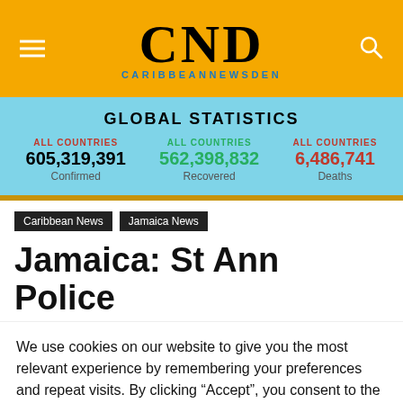CND CARIBBEANNEWSDEN
GLOBAL STATISTICS
ALL COUNTRIES 605,319,391 Confirmed | ALL COUNTRIES 562,398,832 Recovered | ALL COUNTRIES 6,486,741 Deaths
Caribbean News
Jamaica News
Jamaica: St Ann Police
We use cookies on our website to give you the most relevant experience by remembering your preferences and repeat visits. By clicking “Accept”, you consent to the use of ALL the cookies. Cookie Policy
Do not sell my personal information.
REJECT | ACCEPT